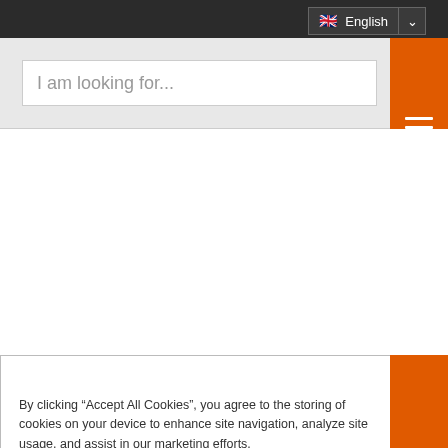[Figure (screenshot): Website header with black top bar containing English language selector with UK flag, grey search area with search input placeholder text 'I am looking for...', orange hamburger menu button, and partial cookie consent banner at bottom.]
I am looking for...
By clicking “Accept All Cookies”, you agree to the storing of cookies on your device to enhance site navigation, analyze site usage, and assist in our marketing efforts.